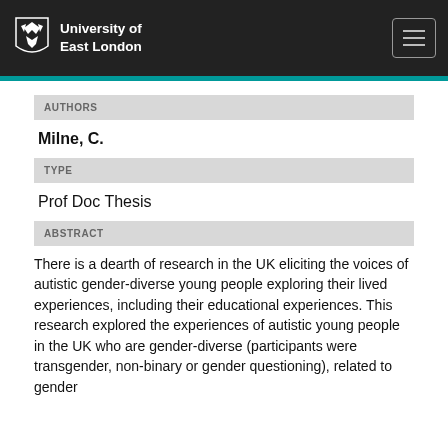University of East London
AUTHORS
Milne, C.
TYPE
Prof Doc Thesis
ABSTRACT
There is a dearth of research in the UK eliciting the voices of autistic gender-diverse young people exploring their lived experiences, including their educational experiences. This research explored the experiences of autistic young people in the UK who are gender-diverse (participants were transgender, non-binary or gender questioning), related to gender